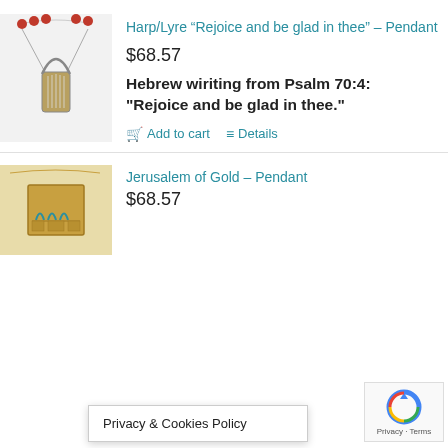[Figure (photo): Harp/Lyre pendant necklace with red beads on a chain, silver-colored harp charm]
Harp/Lyre “Rejoice and be glad in thee” – Pendant
$68.57
Hebrew wiriting from Psalm 70:4: "Rejoice and be glad in thee."
Add to cart   Details
[Figure (photo): Jerusalem of Gold pendant, gold rectangular pendant with architectural motifs]
Jerusalem of Gold – Pendant
$68.57
Privacy & Cookies Policy